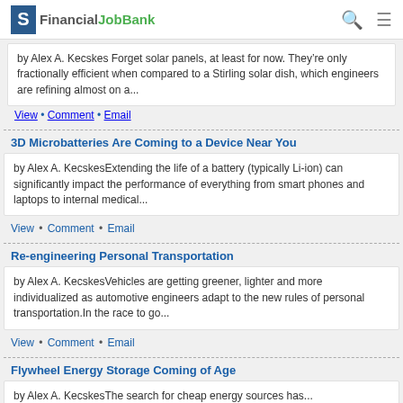FinancialJobBank
by Alex A. Kecskes Forget solar panels, at least for now. They're only fractionally efficient when compared to a Stirling solar dish, which engineers are refining almost on a...
View • Comment • Email
3D Microbatteries Are Coming to a Device Near You
by Alex A. KecskesExtending the life of a battery (typically Li-ion) can significantly impact the performance of everything from smart phones and laptops to internal medical...
View • Comment • Email
Re-engineering Personal Transportation
by Alex A. KecskesVehicles are getting greener, lighter and more individualized as automotive engineers adapt to the new rules of personal transportation.In the race to go...
View • Comment • Email
Flywheel Energy Storage Coming of Age
by Alex A. KecskesThe search for cheap energy sources has...